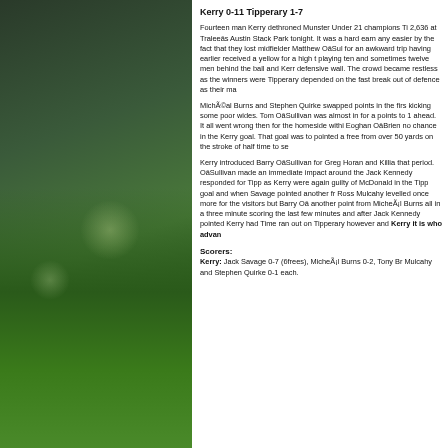[Figure (photo): Green grass close-up with bokeh/blurred background, dark green tones, sports field photo on left side of page]
Kerry 0-11 Tipperary 1-7
Fourteen man Kerry dethroned Munster Under 21 champions Tipperary before a crowd of 2,636 at Traleeâs Austin Stack Park tonight. It was a hard earned victory, not made any easier by the fact that they lost midfielder Matthew Oâ‌Sullivan to a straight red card for an awkward trip having earlier received a yellow for a high tackle. Tipperary were playing ten and sometimes twelve men behind the ball and Kerry had to break down a deep defensive wall. The crowd became restless as the winners were often wasteful with ball. Tipperary depended on the fast break out of defence as their main weapon.
MichÃ©al Burns and Stephen Quirke swapped points in the first half with Kerry kicking some poor wides. Tom Oâ‌Sullivan was almost in for a goal and Kerry led by 3 points to 1 ahead. It all went wrong then for the homeside within a minute as a fierce shot from Eoghan Oâ‌Brien no chance in the Kerry goal. That goal was to level the scores and Quirke pointed a free from over 50 yards on the stroke of half time to se
Kerry introduced Barry Oâ‌Sullivan for Greg Horan and Killia that period. Oâ‌Sullivan made an immediate impact around the Jack Kennedy responded for Tipp as Kerry were again guilty of McDonald in the Tipp goal and when Savage pointed another fr Ross Mulcahy levelled once more for the visitors but Barry Oâ‌ another point from MicheÃ¡l Burns all in a three minute scoring the last few minutes and after Jack Kennedy pointed Kerry had Time ran out on Tipperary however and Kerry it is who advan
Scorers:
Kerry: Jack Savage 0-7 (6frees), MicheÃ¡l Burns 0-2, Tony Br Mulcahy and Stephen Quirke 0-1 each.